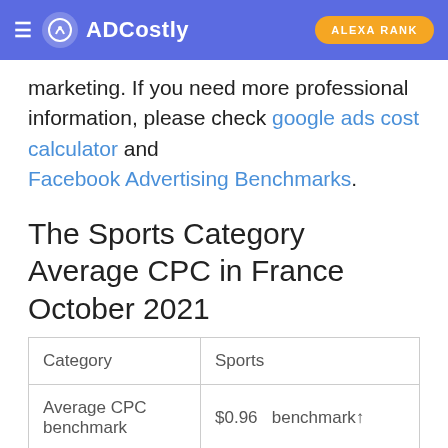ADCostly | ALEXA RANK
marketing. If you need more professional information, please check google ads cost calculator and Facebook Advertising Benchmarks.
The Sports Category Average CPC in France October 2021
| Category | Sports |
| --- | --- |
| Average CPC benchmark | $0.96   benchmark↑ |
| Gender - Male | 38.54% less than benchmark |
| Gender - Female | 9.28% less than benchmark |